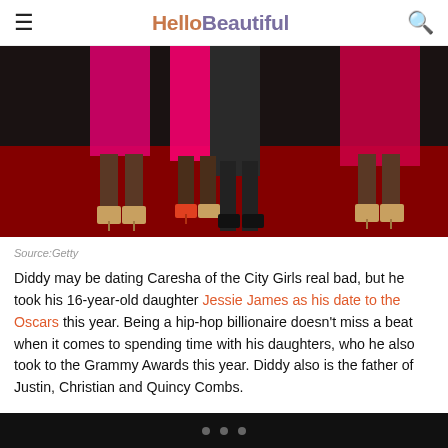HelloBeautiful
[Figure (photo): Red carpet photo showing legs and feet of people in formal wear, women in pink/red dresses with heeled sandals and a man in dark trousers with black dress shoes, standing on a dark red carpet]
Source:Getty
Diddy may be dating Caresha of the City Girls real bad, but he took his 16-year-old daughter Jessie James as his date to the Oscars this year. Being a hip-hop billionaire doesn't miss a beat when it comes to spending time with his daughters, who he also took to the Grammy Awards this year. Diddy also is the father of Justin, Christian and Quincy Combs.